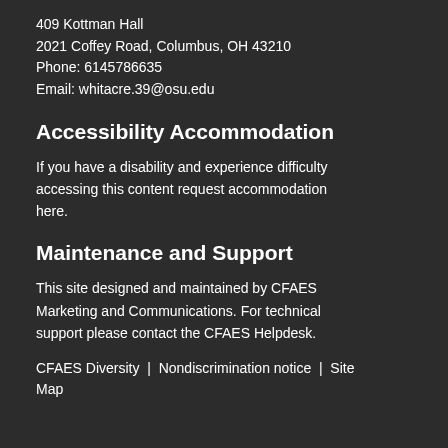409 Kottman Hall
2021 Coffey Road, Columbus, OH 43210
Phone: 6145786635
Email: whitacre.39@osu.edu
Accessibility Accommodation
If you have a disability and experience difficulty accessing this content request accommodation here.
Maintenance and Support
This site designed and maintained by CFAES Marketing and Communications. For technical support please contact the CFAES Helpdesk.
CFAES Diversity  |  Nondiscrimination notice  |  Site Map